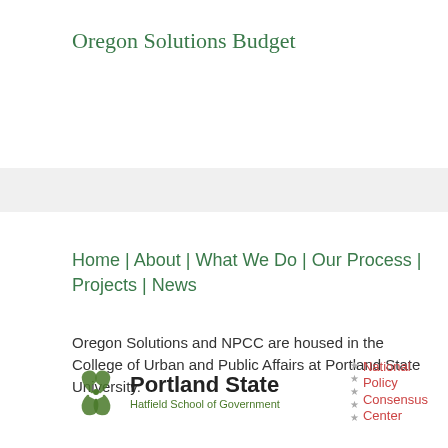Oregon Solutions Budget
Home | About | What We Do | Our Process | Projects | News
Oregon Solutions and NPCC are housed in the College of Urban and Public Affairs at Portland State University.
[Figure (logo): Portland State University Hatfield School of Government logo and National Policy Consensus Center logo]